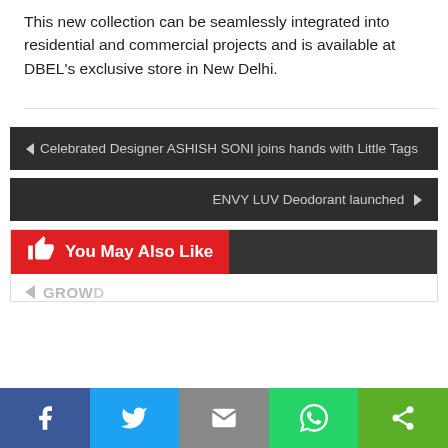This new collection can be seamlessly integrated into residential and commercial projects and is available at DBEL's exclusive store in New Delhi.
◄ Celebrated Designer ASHISH SONI joins hands with Little Tags
ENVY LUV Deodorant launched ►
👍 You May Also Like
GROW...